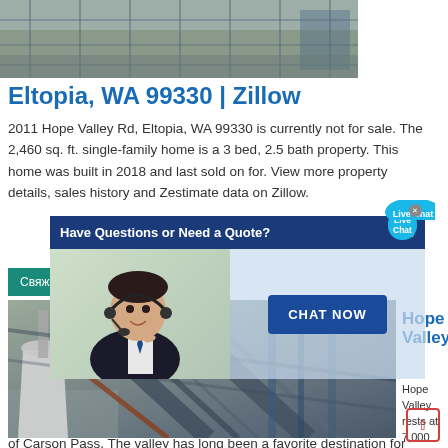[Figure (photo): Top banner photo of a building under construction with scaffolding]
Eltopia, WA 99330 | Zillow
2011 Hope Valley Rd, Eltopia, WA 99330 is currently not for sale. The 2,460 sq. ft. single-family home is a 3 bed, 2.5 bath property. This home was built in 2018 and last sold on for. View more property details, sales history and Zestimate data on Zillow.
[Figure (screenshot): Chat popup overlay with text 'Have Questions or Need a Quote?' and 'CHAT NOW' button with agent photo]
Свяжитесь с нами
[Figure (photo): Industrial machinery photo with conveyor belts and cone-shaped equipment]
Hope Valley
Hope Valley rests at 7,000 feet on the eastern side
of Carson Pass. The valley has long been a favorite destination for